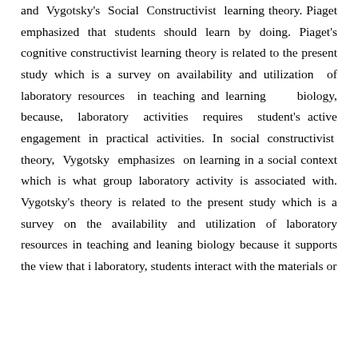and Vygotsky's Social Constructivist learning theory. Piaget emphasized that students should learn by doing. Piaget's cognitive constructivist learning theory is related to the present study which is a survey on availability and utilization of laboratory resources in teaching and learning biology, because, laboratory activities requires student's active engagement in practical activities. In social constructivist theory, Vygotsky emphasizes on learning in a social context which is what group laboratory activity is associated with. Vygotsky's theory is related to the present study which is a survey on the availability and utilization of laboratory resources in teaching and learning biology because it supports the view that in laboratory, students interact with the materials or